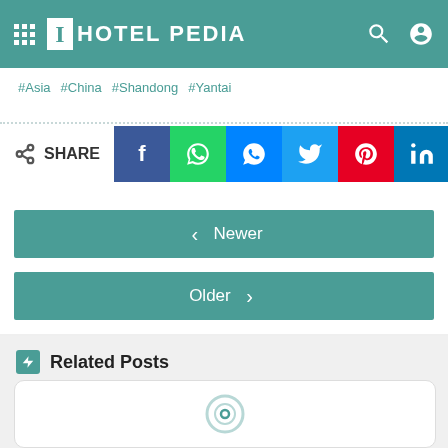iHOTEL PEDIA
#Asia #China #Shandong #Yantai
SHARE
< Newer
Older >
Related Posts
[Figure (other): Loading spinner / carousel card placeholder]